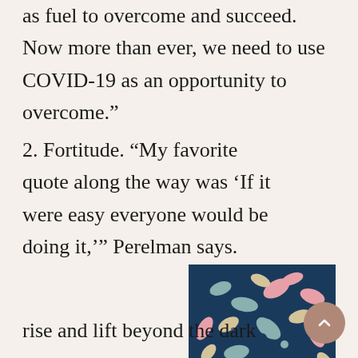as fuel to overcome and succeed. Now more than ever, we need to use COVID-19 as an opportunity to overcome."
2. Fortitude. “My favorite quote along the way was ‘If it were easy everyone would be doing it,’” Perelman says. “One thing I know for sure, the event industry is strong and resourceful. While we all feel down and depleted, I know the passionate creative backbone of our industry will enable our entire industry to rise and lift beyond the dark days…
[Figure (illustration): Colorful paisley pattern illustration with swirling teardrop shapes in pink, teal/gray, cream, and dark navy blue colors]